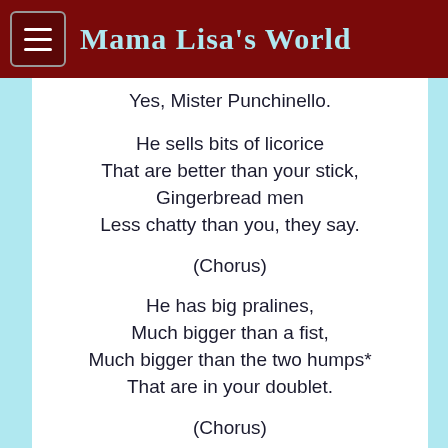Mama Lisa's World
Yes, Mister Punchinello.
He sells bits of licorice
That are better than your stick,
Gingerbread men
Less chatty than you, they say.
(Chorus)
He has big pralines,
Much bigger than a fist,
Much bigger than the two humps*
That are in your doublet.
(Chorus)